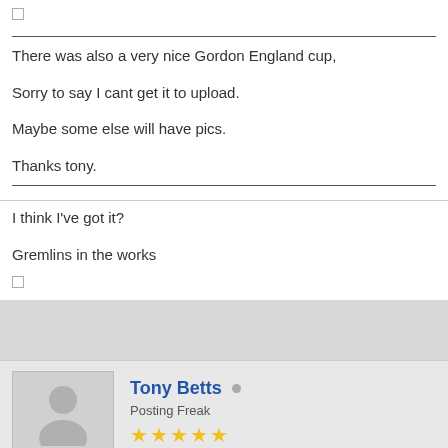There was also a very nice Gordon England cup,

Sorry to say I cant get it to upload.

Maybe some else will have pics.

Thanks tony.
I think I've got it?

Gremlins in the works
Tony Betts
Posting Freak
30-08-2021, 03:56 PM